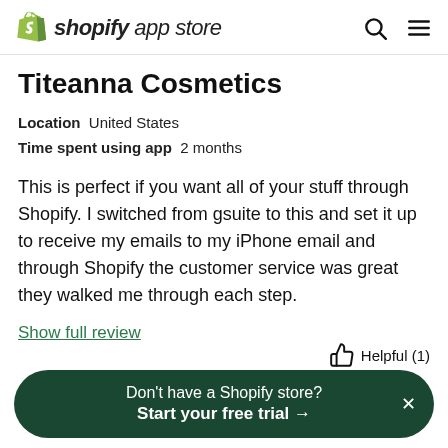shopify app store
Titeanna Cosmetics
Location   United States
Time spent using app   2 months
This is perfect if you want all of your stuff through Shopify. I switched from gsuite to this and set it up to receive my emails to my iPhone email and through Shopify the customer service was great they walked me through each step.
Show full review
Helpful (1)
Don't have a Shopify store?
Start your free trial →